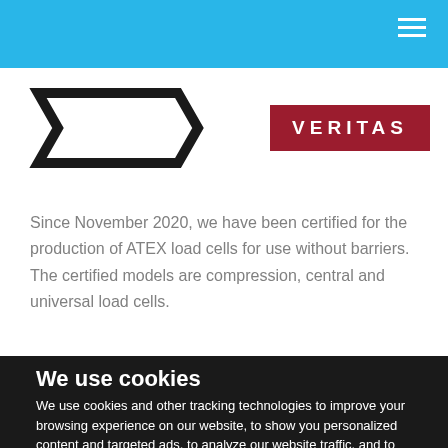[Figure (logo): Blue navigation bar with hamburger menu icon (three white horizontal lines) at top right]
[Figure (logo): Company logo area showing a black hexagonal/chevron shape on the left and a VERITAS badge (white letters on dark red background) on the right]
Since November 2020, we have been certified for the production of ATEX load cells for use without barriers. The certified models are compression, central and universal load cells.
We use cookies
We use cookies and other tracking technologies to improve your browsing experience on our website, to show you personalized content and targeted ads, to analyze our website traffic, and to understand where our visitors are coming from